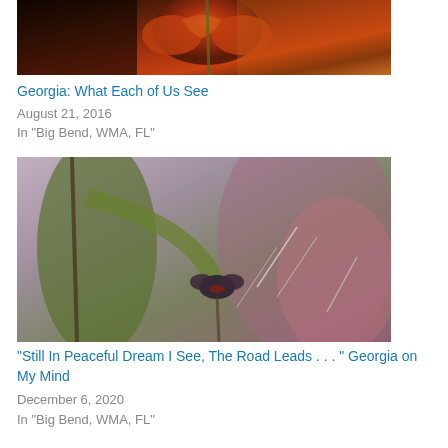[Figure (photo): Close-up photo of an orange/red butterfly on plant stems against a dark warm background]
Georgia: What Each of Us See
August 21, 2016
In "Big Bend, WMA, FL"
[Figure (photo): Photo of a small dark butterfly perched on plant stems with green leaves and blurry purple-pink foliage in background]
“Still In Peaceful Dream I See, The Road Leads . . . ” Georgia on My Mind
December 6, 2020
In "Big Bend, WMA, FL"